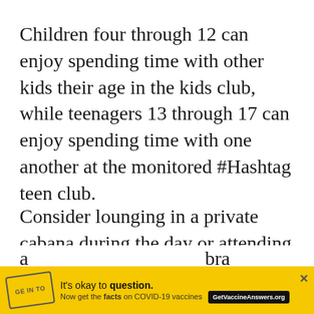Children four through 12 can enjoy spending time with other kids their age in the kids club, while teenagers 13 through 17 can enjoy spending time with one another at the monitored #Hashtag teen club.
Consider lounging in a private cabana during the day or attending any nightly shows in the evening.
Like the Iberostar, parents can get some alone time by chatting with the concierge
[Figure (other): Circular scroll-to-top button with an upward arrow icon]
[Figure (other): Advertisement banner: yellow background with COVID-19 vaccine information. Text reads: It's okay to question. Now get the facts on COVID-19 vaccines GetVaccineAnswers.org. Close button (X) in top right.]